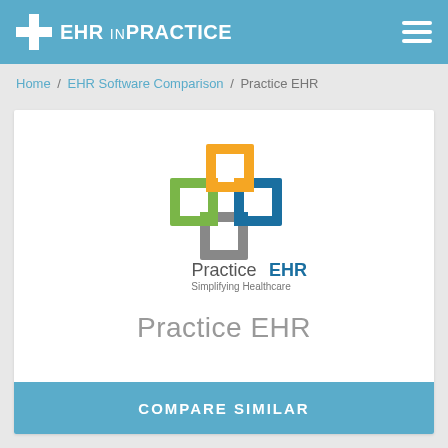EHR in PRACTICE
Home / EHR Software Comparison / Practice EHR
[Figure (logo): Practice EHR logo with interlocking colored squares (orange, green, blue, gray) and text 'PracticeEHR Simplifying Healthcare']
Practice EHR
COMPARE SIMILAR